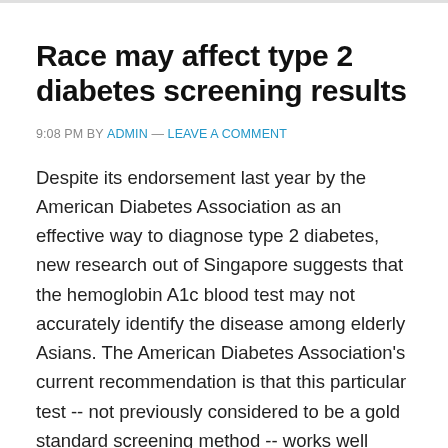Race may affect type 2 diabetes screening results
9:08 PM BY ADMIN — LEAVE A COMMENT
Despite its endorsement last year by the American Diabetes Association as an effective way to diagnose type 2 diabetes, new research out of Singapore suggests that the hemoglobin A1c blood test may not accurately identify the disease among elderly Asians. The American Diabetes Association's current recommendation is that this particular test -- not previously considered to be a gold standard screening method -- works well when physicians rely on a cutoff reading of 6.5 percent or more to … [Read